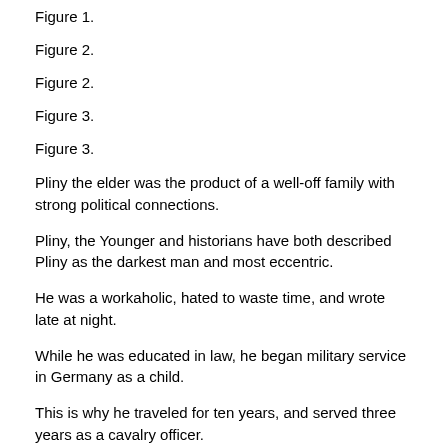Figure 1.
Figure 2.
Figure 2.
Figure 3.
Figure 3.
Pliny the elder was the product of a well-off family with strong political connections.
Pliny, the Younger and historians have both described Pliny as the darkest man and most eccentric.
He was a workaholic, hated to waste time, and wrote late at night.
While he was educated in law, he began military service in Germany as a child.
This is why he traveled for ten years, and served three years as a cavalry officer.
This book Natural History can be divided into 37 parts. Books XII-XIX focus on botany, and other aspects of plants.